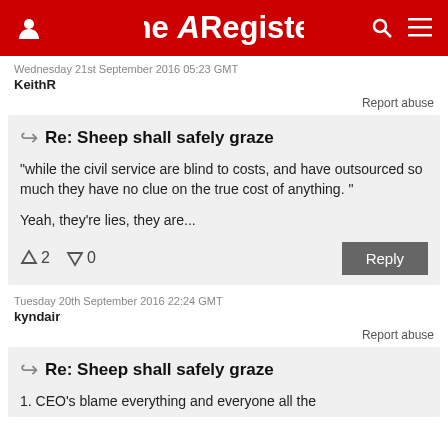The Register
Wednesday 21st September 2016 05:23 GMT
KeithR
Report abuse
Re: Sheep shall safely graze
"while the civil service are blind to costs, and have outsourced so much they have no clue on the true cost of anything. "
Yeah, they're lies, they are...
↑2  ↓0   Reply
Tuesday 20th September 2016 22:24 GMT
kyndair
Report abuse
Re: Sheep shall safely graze
1. CEO's blame everything and everyone all the